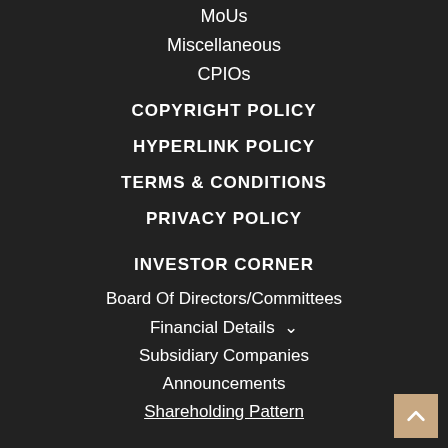MoUs
Miscellaneous
CPIOs
COPYRIGHT POLICY
HYPERLINK POLICY
TERMS & CONDITIONS
PRIVACY POLICY
INVESTOR CORNER
Board Of Directors/Committees
Financial Details
Subsidiary Companies
Announcements
Shareholding Pattern